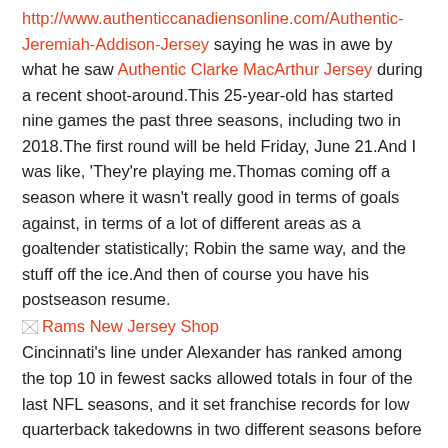http://www.authenticcanadiensonline.com/Authentic-Jeremiah-Addison-Jersey saying he was in awe by what he saw Authentic Clarke MacArthur Jersey during a recent shoot-around.This 25-year-old has started nine games the past three seasons, including two in 2018.The first round will be held Friday, June 21.And I was like, 'They're playing me.Thomas coming off a season where it wasn't really good in terms of goals against, in terms of a lot of different areas as a goaltender statistically; Robin the same way, and the stuff off the ice.And then of course you have his postseason resume.
[Figure (other): Broken image with link text 'Rams New Jersey Shop']
Cincinnati's line under Alexander has ranked among the top 10 in fewest sacks allowed totals in four of the last NFL seasons, and it set franchise records for low quarterback takedowns in two different seasons before that.It was the